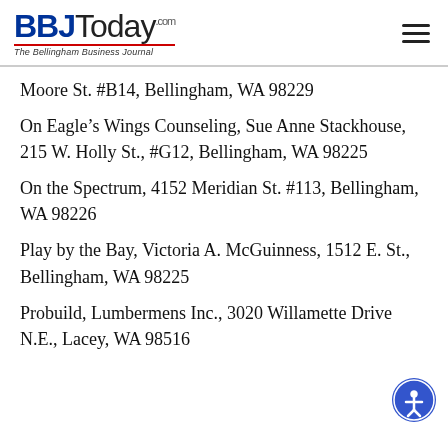BBJToday.com — The Bellingham Business Journal
Moore St. #B14, Bellingham, WA 98229
On Eagle's Wings Counseling, Sue Anne Stackhouse, 215 W. Holly St., #G12, Bellingham, WA 98225
On the Spectrum, 4152 Meridian St. #113, Bellingham, WA 98226
Play by the Bay, Victoria A. McGuinness, 1512 E. St., Bellingham, WA 98225
Probuild, Lumbermens Inc., 3020 Willamette Drive N.E., Lacey, WA 98516